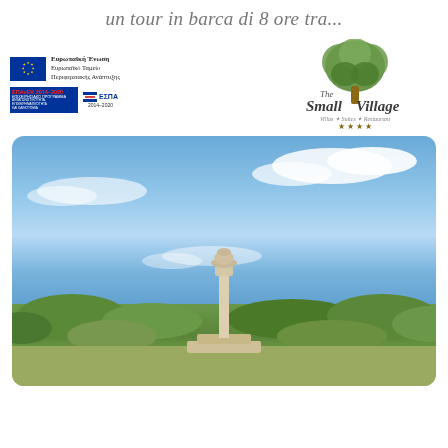un tour in barca di 8 ore tra...
[Figure (logo): EU logos: Ευρωπαϊκή Ένωση, Ευρωπαϊκό Ταμείο Περιφερειακής Ανάπτυξης, ΕΠΑνΕΚ 2014-2020, ΕΣΠΑ 2014-2020]
[Figure (logo): The Small Village logo - Villas, Suites & Restaurant, 4 stars]
[Figure (photo): Outdoor landscape photo showing ancient Greek column/statue standing among green vegetation under a blue sky with white clouds]